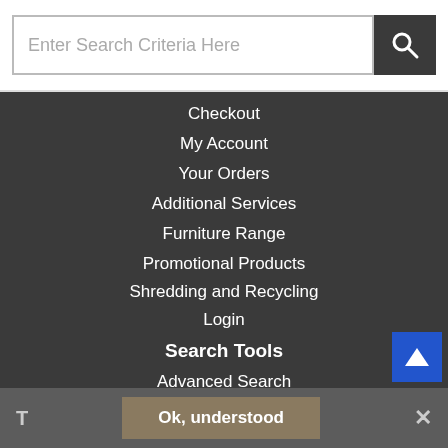[Figure (screenshot): Search bar input field with placeholder text 'Enter Search Criteria Here' and a dark search button with magnifying glass icon]
Checkout
My Account
Your Orders
Additional Services
Furniture Range
Promotional Products
Shredding and Recycling
Login
Search Tools
Advanced Search
A to Z
All Categories
Contact Us
Ok, understood